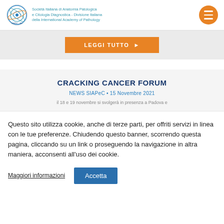Società Italiana di Anatomia Patologica e Citologia Diagnostica - Divisione Italiana della International Academy of Pathology
LEGGI TUTTO ▶
CRACKING CANCER FORUM
NEWS SIAPeC • 15 Novembre 2021
il 18 e 19 novembre si svolgerà in presenza a Padova e...
Questo sito utilizza cookie, anche di terze parti, per offriti servizi in linea con le tue preferenze. Chiudendo questo banner, scorrendo questa pagina, cliccando su un link o proseguendo la navigazione in altra maniera, acconsenti all'uso dei cookie.
Maggiori informazioni
Accetta